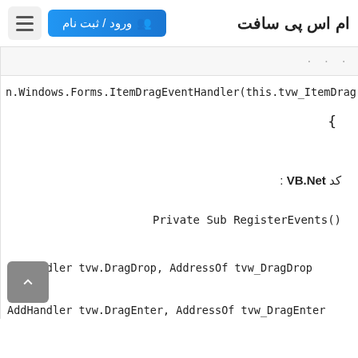ام اس پی سافت
ورود / ثبت نام
n.Windows.Forms.ItemDragEventHandler(this.tvw_ItemDrag)
{
کد VB.Net:
Private Sub RegisterEvents()
AddHandler tvw.DragDrop, AddressOf tvw_DragDrop
AddHandler tvw.DragEnter, AddressOf tvw_DragEnter